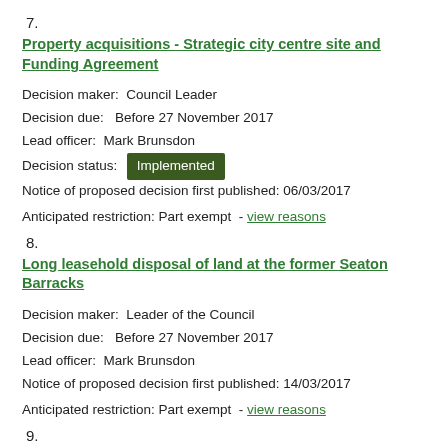7.
Property acquisitions - Strategic city centre site and Funding Agreement
Decision maker:  Council Leader
Decision due:   Before 27 November 2017
Lead officer:  Mark Brunsdon
Decision status:  Implemented
Notice of proposed decision first published: 06/03/2017
Anticipated restriction: Part exempt  - view reasons
8.
Long leasehold disposal of land at the former Seaton Barracks
Decision maker:  Leader of the Council
Decision due:   Before 27 November 2017
Lead officer:  Mark Brunsdon
Notice of proposed decision first published: 14/03/2017
Anticipated restriction: Part exempt  - view reasons
9.